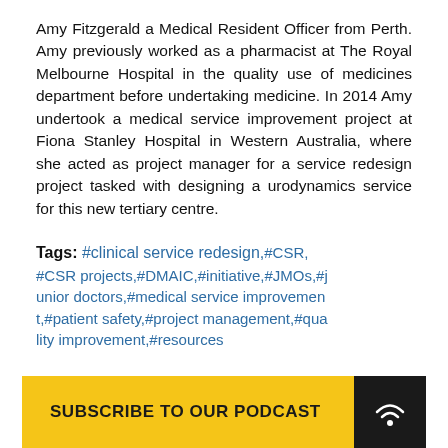Amy Fitzgerald a Medical Resident Officer from Perth. Amy previously worked as a pharmacist at The Royal Melbourne Hospital in the quality use of medicines department before undertaking medicine. In 2014 Amy undertook a medical service improvement project at Fiona Stanley Hospital in Western Australia, where she acted as project manager for a service redesign project tasked with designing a urodynamics service for this new tertiary centre.
Tags: #clinical service redesign, #CSR, #CSR projects, #DMAIC, #initiative, #JMOs, #junior doctors, #medical service improvement, #patient safety, #project management, #quality improvement, #resources
SUBSCRIBE TO OUR PODCAST